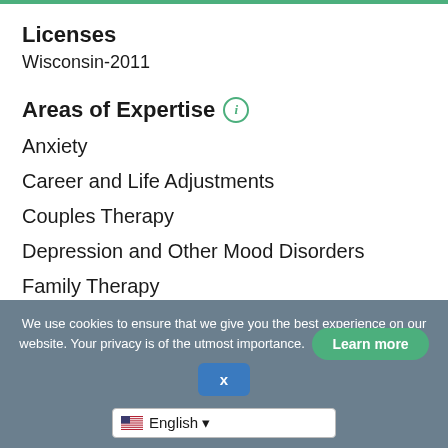Licenses
Wisconsin-2011
Areas of Expertise
Anxiety
Career and Life Adjustments
Couples Therapy
Depression and Other Mood Disorders
Family Therapy
Individual Psychotherapy
We use cookies to ensure that we give you the best experience on our website. Your privacy is of the utmost importance.
Learn more
X
English